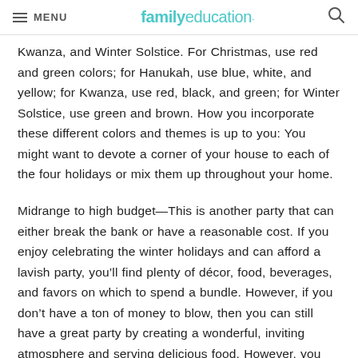MENU | familyeducation
Kwanza, and Winter Solstice. For Christmas, use red and green colors; for Hanukah, use blue, white, and yellow; for Kwanza, use red, black, and green; for Winter Solstice, use green and brown. How you incorporate these different colors and themes is up to you: You might want to devote a corner of your house to each of the four holidays or mix them up throughout your home.
Midrange to high budget—This is another party that can either break the bank or have a reasonable cost. If you enjoy celebrating the winter holidays and can afford a lavish party, you’ll find plenty of décor, food, beverages, and favors on which to spend a bundle. However, if you don’t have a ton of money to blow, then you can still have a great party by creating a wonderful, inviting atmosphere and serving delicious food. However, you